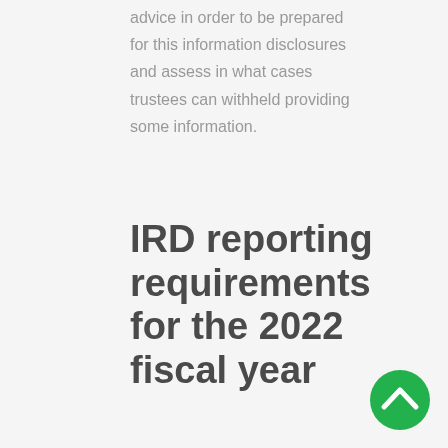advice in order to be prepared for this information disclosures and assess in what cases trustees can withheld providing some information.
IRD reporting requirements for the 2022 fiscal year
[Figure (illustration): Green circular button with an upward-pointing chevron/arrow icon, used as a scroll-to-top navigation element.]